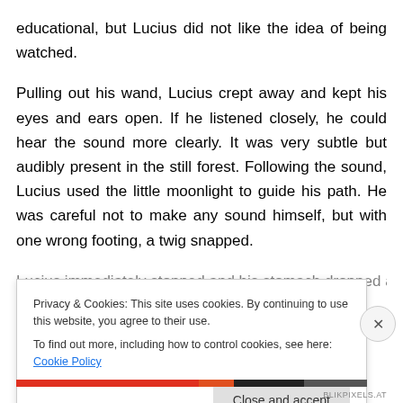educational, but Lucius did not like the idea of being watched.
Pulling out his wand, Lucius crept away and kept his eyes and ears open. If he listened closely, he could hear the sound more clearly. It was very subtle but audibly present in the still forest. Following the sound, Lucius used the little moonlight to guide his path. He was careful not to make any sound himself, but with one wrong footing, a twig snapped.
L... (partial, obscured by cookie banner)
Privacy & Cookies: This site uses cookies. By continuing to use this website, you agree to their use.
To find out more, including how to control cookies, see here: Cookie Policy
Close and accept